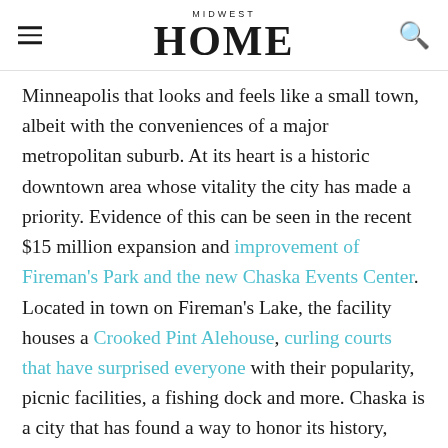MIDWEST HOME
Minneapolis that looks and feels like a small town, albeit with the conveniences of a major metropolitan suburb. At its heart is a historic downtown area whose vitality the city has made a priority. Evidence of this can be seen in the recent $15 million expansion and improvement of Fireman's Park and the new Chaska Events Center. Located in town on Fireman's Lake, the facility houses a Crooked Pint Alehouse, curling courts that have surprised everyone with their popularity, picnic facilities, a fishing dock and more. Chaska is a city that has found a way to honor its history, preserve its main street and move into the future with modest aplomb. Here are a few more reasons you may want to consider Chaska for your next home.